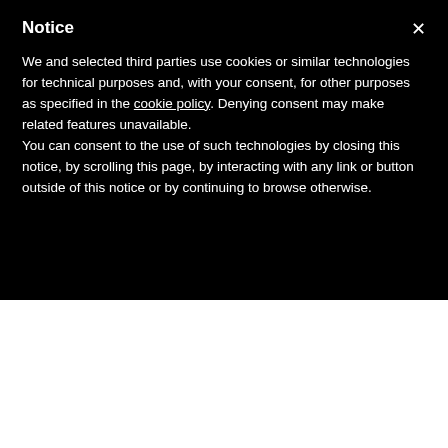Notice
We and selected third parties use cookies or similar technologies for technical purposes and, with your consent, for other purposes as specified in the cookie policy. Denying consent may make related features unavailable.
You can consent to the use of such technologies by closing this notice, by scrolling this page, by interacting with any link or button outside of this notice or by continuing to browse otherwise.
[Figure (infographic): Yellow advertising banner reading 'Acquista il tuo banner pubblicitario' with subtitle 'Clicca qui per contattarci >']
You are here: Home / Forensic Sciences / Jaw Shifting